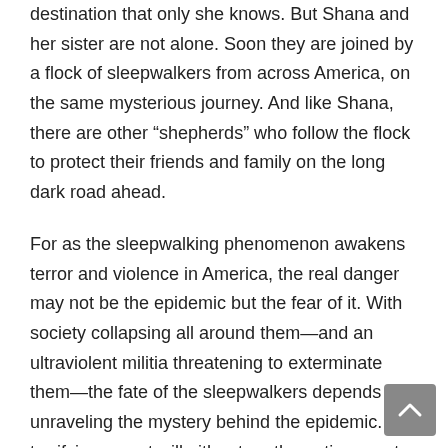destination that only she knows. But Shana and her sister are not alone. Soon they are joined by a flock of sleepwalkers from across America, on the same mysterious journey. And like Shana, there are other “shepherds” who follow the flock to protect their friends and family on the long dark road ahead.
For as the sleepwalking phenomenon awakens terror and violence in America, the real danger may not be the epidemic but the fear of it. With society collapsing all around them—and an ultraviolent militia threatening to exterminate them—the fate of the sleepwalkers depends on unraveling the mystery behind the epidemic. The terrifying secret will either tear the nation apart—or bring the survivors together to remake a shattered world.